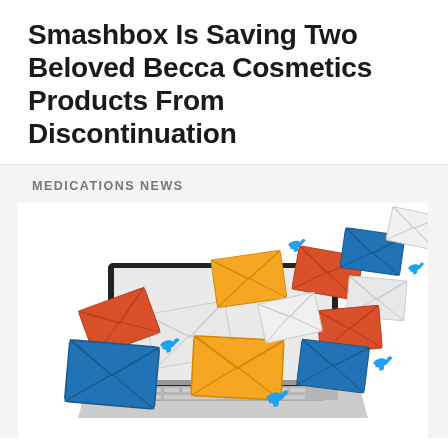Smashbox Is Saving Two Beloved Becca Cosmetics Products From Discontinuation
MEDICATIONS NEWS
[Figure (illustration): Colorful email envelopes (blue, orange/red, yellow, white/grey) flying out of a laptop computer screen, with blue Twitter bird icons scattered among the envelopes, suggesting social media and email marketing concept.]